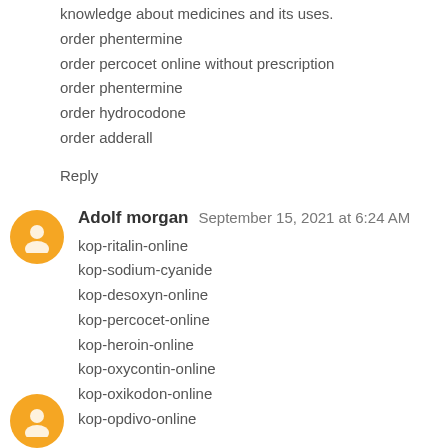knowledge about medicines and its uses.
order phentermine
order percocet online without prescription
order phentermine
order hydrocodone
order adderall
Reply
Adolf morgan  September 15, 2021 at 6:24 AM
kop-ritalin-online
kop-sodium-cyanide
kop-desoxyn-online
kop-percocet-online
kop-heroin-online
kop-oxycontin-online
kop-oxikodon-online
kop-opdivo-online
Reply